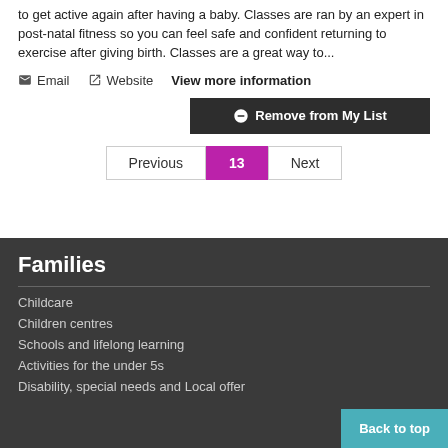to get active again after having a baby. Classes are ran by an expert in post-natal fitness so you can feel safe and confident returning to exercise after giving birth. Classes are a great way to...
Email   Website   View more information
Remove from My List
Previous  13  Next
Families
Childcare
Children centres
Schools and lifelong learning
Activities for the under 5s
Disability, special needs and Local offer
Back to top